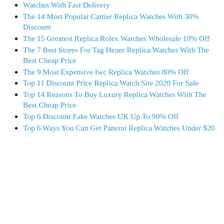Watches With Fast Delivery
The 14 Most Popular Cartier Replica Watches With 30% Discount
The 15 Greatest Replica Rolex Watches Wholesale 10% Off
The 7 Best Stores For Tag Heuer Replica Watches With The Best Cheap Price
The 9 Most Expensive Iwc Replica Watches 80% Off
Top 11 Discount Price Replica Watch Site 2020 For Sale
Top 14 Reasons To Buy Luxury Replica Watches With The Best Cheap Price
Top 6 Discount Fake Watches UK Up To 90% Off
Top 6 Ways You Can Get Panerai Replica Watches Under $20